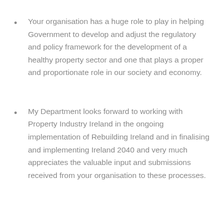Your organisation has a huge role to play in helping Government to develop and adjust the regulatory and policy framework for the development of a healthy property sector and one that plays a proper and proportionate role in our society and economy.
My Department looks forward to working with Property Industry Ireland in the ongoing implementation of Rebuilding Ireland and in finalising and implementing Ireland 2040 and very much appreciates the valuable input and submissions received from your organisation to these processes.